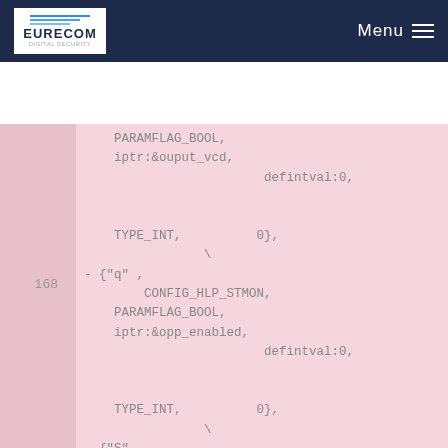EURECOM | Menu
Code listing with line numbers 168-169 showing C macro parameters: PARAMFLAG_BOOL, iptr:&ouput_vcd, defintval:0, TYPE_INT, 0}, \, {"q", CONFIG_HLP_STMON, PARAMFLAG_BOOL, iptr:&opp_enabled, defintval:0, TYPE_INT, 0}, \, {"S", CONFIG_HLP_MSLOTS, PARAMFLAG_BOOL, u8ptr:&exit_missed_slots, defintval:1, TYPE_UINT8,